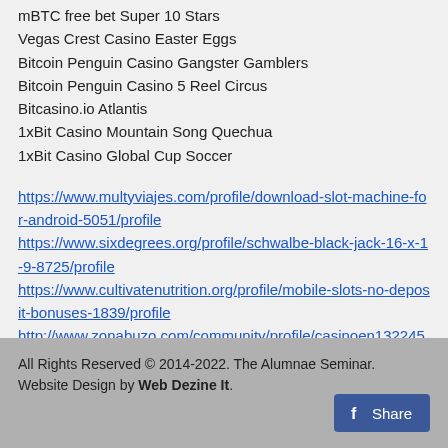mBTC free bet Super 10 Stars
Vegas Crest Casino Easter Eggs
Bitcoin Penguin Casino Gangster Gamblers
Bitcoin Penguin Casino 5 Reel Circus
Bitcasino.io Atlantis
1xBit Casino Mountain Song Quechua
1xBit Casino Global Cup Soccer
https://www.multyviajes.com/profile/download-slot-machine-for-android-5051/profile https://www.sixdegrees.org/profile/schwalbe-black-jack-16-x-1-9-8725/profile https://www.cultivatenutrition.org/profile/mobile-slots-no-deposit-bonuses-1839/profile http://www.zonabuzo.com/community/profile/casinoen13224543/
All Rights Reserved © 2014-2022. The Alumnae Seminar.  Website Design by Web Dezine It.